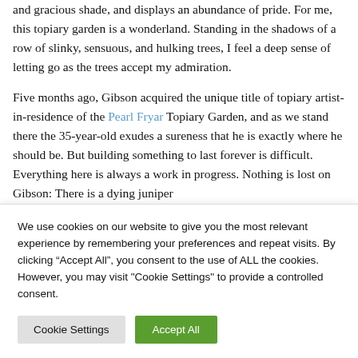and gracious shade, and displays an abundance of pride. For me, this topiary garden is a wonderland. Standing in the shadows of a row of slinky, sensuous, and hulking trees, I feel a deep sense of letting go as the trees accept my admiration.
Five months ago, Gibson acquired the unique title of topiary artist-in-residence of the Pearl Fryar Topiary Garden, and as we stand there the 35-year-old exudes a sureness that he is exactly where he should be. But building something to last forever is difficult. Everything here is always a work in progress. Nothing is lost on Gibson: There is a dying juniper
We use cookies on our website to give you the most relevant experience by remembering your preferences and repeat visits. By clicking "Accept All", you consent to the use of ALL the cookies. However, you may visit "Cookie Settings" to provide a controlled consent.